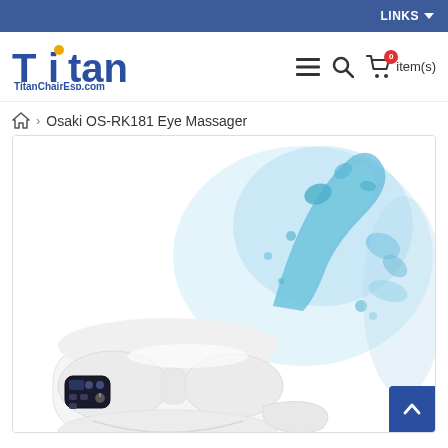LINKS ▾
[Figure (logo): Titan logo with gold accent on letter i, and TitanChairEsp.com subtitle]
0 item(s)
Osaki OS-RK181 Eye Massager
[Figure (photo): Osaki OS-RK181 Eye Massager product photo showing a white eye massager device with a control panel, against a background with a blue water splash graphic on a light background]